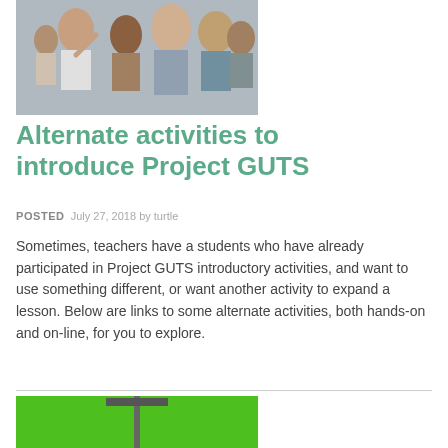[Figure (photo): Group of people outdoors, appearing to interact with each other, some wearing light-colored shirts]
Alternate activities to introduce Project GUTS
POSTED  July 27, 2018 by turtle
Sometimes, teachers have a students who have already participated in Project GUTS introductory activities, and want to use something different, or want another activity to expand a lesson. Below are links to some alternate activities, both hands-on and on-line, for you to explore.
[Figure (screenshot): Green background image with a tree/pole shape visible at top center]